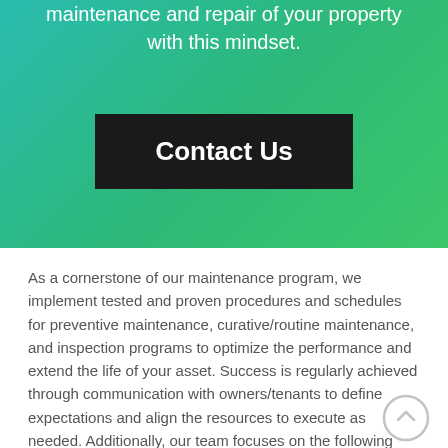maintenance and repair of your property with this mindset.
Contact Us
As a cornerstone of our maintenance program, we implement tested and proven procedures and schedules for preventive maintenance, curative/routine maintenance, and inspection programs to optimize the performance and extend the life of your asset. Success is regularly achieved through communication with owners/tenants to define expectations and align the resources to execute as needed. Additionally, our team focuses on the following areas: